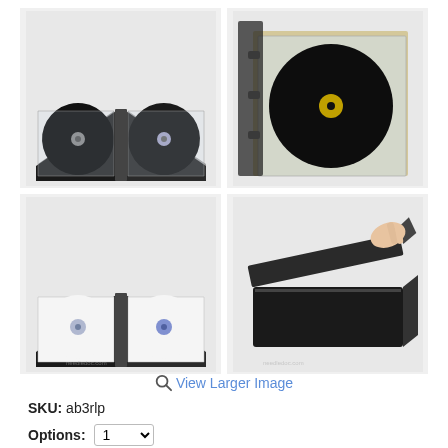[Figure (photo): Four product photos showing vinyl record storage albums and a box: top-left shows an open black album with two vinyl records; top-right shows an open binder-style album with one record; bottom-left shows an open black album with two white-sleeved records; bottom-right shows a black storage box with lid being lifted by a hand.]
View Larger Image
SKU: ab3rlp
Options: 1